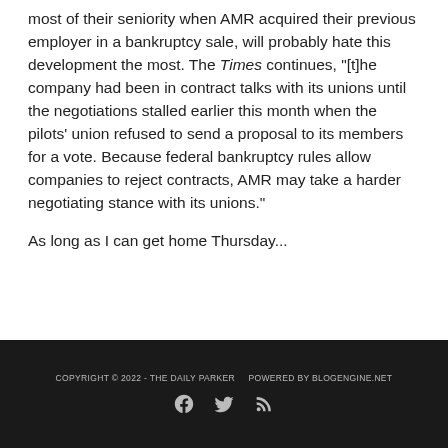most of their seniority when AMR acquired their previous employer in a bankruptcy sale, will probably hate this development the most. The Times continues, "[t]he company had been in contract talks with its unions until the negotiations stalled earlier this month when the pilots' union refused to send a proposal to its members for a vote. Because federal bankruptcy rules allow companies to reject contracts, AMR may take a harder negotiating stance with its unions."
As long as I can get home Thursday...
COPYRIGHT © 2022 - THE DAILY PARKER   POWERED BY BLOGENGINE.NET